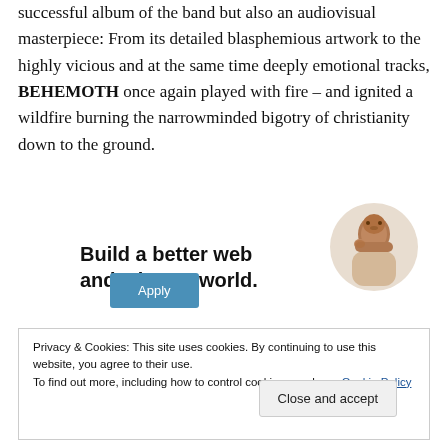successful album of the band but also an audiovisual masterpiece: From its detailed blasphemious artwork to the highly vicious and at the same time deeply emotional tracks, BEHEMOTH once again played with fire – and ignited a wildfire burning the narrowminded bigotry of christianity down to the ground.
[Figure (infographic): Advertisement banner: 'Build a better web and a better world.' with an Apply button and a photo of a person thinking.]
Privacy & Cookies: This site uses cookies. By continuing to use this website, you agree to their use. To find out more, including how to control cookies, see here: Cookie Policy
Close and accept